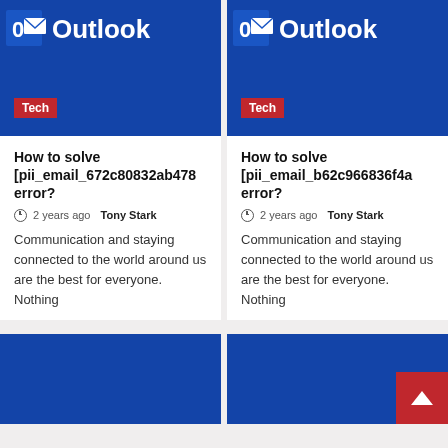[Figure (screenshot): Microsoft Outlook logo on blue background with red Tech badge, left card]
[Figure (screenshot): Microsoft Outlook logo on blue background with red Tech badge, right card]
How to solve [pii_email_672c80832ab478 error?
2 years ago Tony Stark
Communication and staying connected to the world around us are the best for everyone. Nothing
How to solve [pii_email_b62c966836f4a error?
2 years ago Tony Stark
Communication and staying connected to the world around us are the best for everyone. Nothing
[Figure (screenshot): Partial Microsoft Outlook blue card, bottom left]
[Figure (screenshot): Partial Microsoft Outlook blue card with back-to-top red button, bottom right]